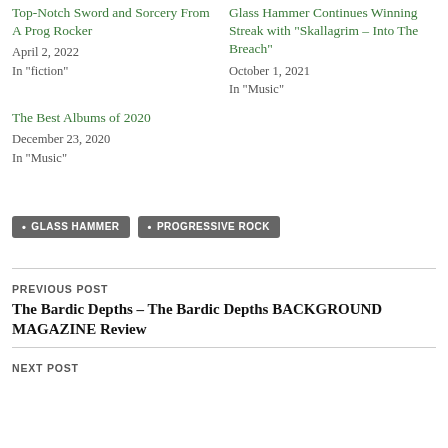Top-Notch Sword and Sorcery From A Prog Rocker
April 2, 2022
In "fiction"
Glass Hammer Continues Winning Streak with “Skallagrim – Into The Breach”
October 1, 2021
In "Music"
The Best Albums of 2020
December 23, 2020
In "Music"
GLASS HAMMER
PROGRESSIVE ROCK
PREVIOUS POST
The Bardic Depths – The Bardic Depths BACKGROUND MAGAZINE Review
NEXT POST